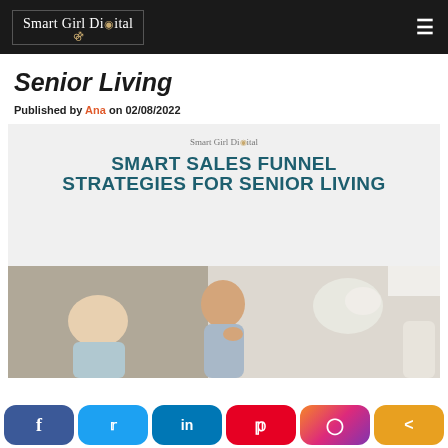Smart Girl Digital
Senior Living
Published by Ana on 02/08/2022
[Figure (infographic): Smart Girl Digital branded feature image with text 'SMART SALES FUNNEL STRATEGIES FOR SENIOR LIVING' on light gray background, with a photo of elderly people below]
[Figure (photo): Photo of an elderly man and a child, with flowers in background]